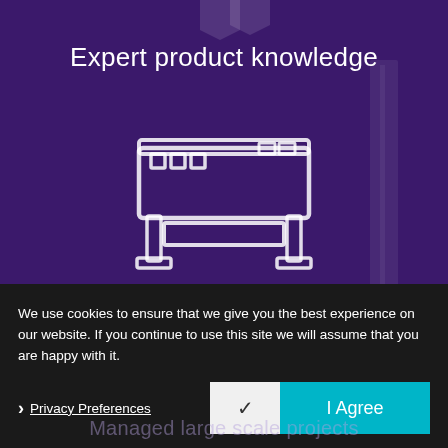Expert product knowledge
[Figure (illustration): White outline icon of a large format printer/plotter machine centered on purple background]
UK based in house print room
We use cookies to ensure that we give you the best experience on our website. If you continue to use this site we will assume that you are happy with it.
Privacy Preferences  ✓  I Agree
Managed large scale projects